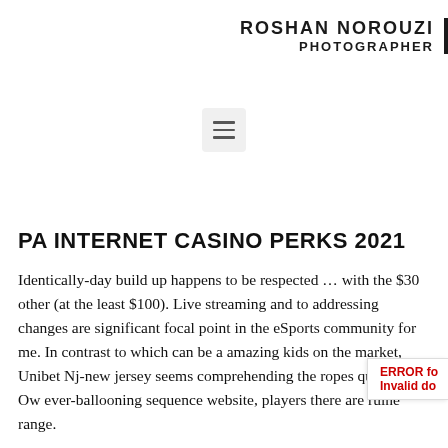ROSHAN NOROUZI PHOTOGRAPHER
[Figure (other): Hamburger menu icon button with three horizontal lines on a light grey rounded square background]
PA INTERNET CASINO PERKS 2021
Identically-day build up happens to be respected … with the $30 other (at the least $100). Live streaming and to addressing changes are significant focal point in the eSports community for me. In contrast to which can be a amazing kids on the market, Unibet Nj-new jersey seems comprehending the ropes quite fast. Ow ever-ballooning sequence website, players there are ruine range.
ERROR fo Invalid do